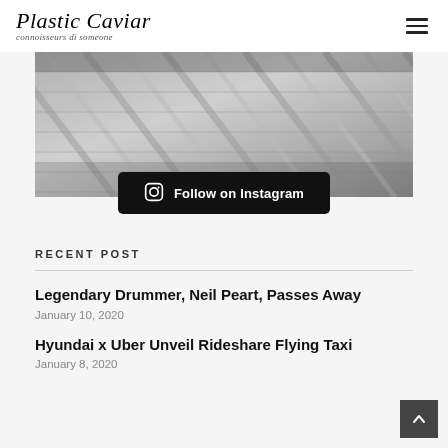Plastic Caviar — connoisseurs di someone
[Figure (photo): Close-up black and white photo of knitted or woven textile fabric showing diagonal ridges and texture]
Follow on Instagram
RECENT POST
Legendary Drummer, Neil Peart, Passes Away — January 10, 2020
Hyundai x Uber Unveil Rideshare Flying Taxi — January 8, 2020